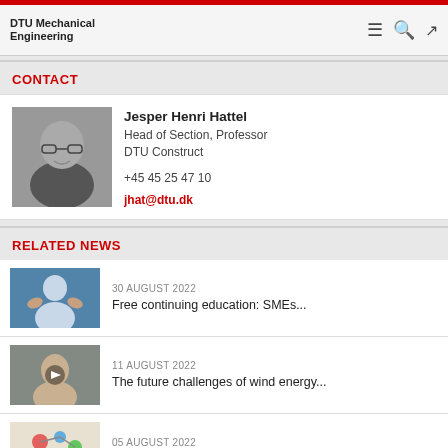DTU Mechanical Engineering
CONTACT
[Figure (photo): Headshot photo of Jesper Henri Hattel, a bald man with glasses wearing a dark shirt, black and white photo]
Jesper Henri Hattel
Head of Section, Professor
DTU Construct
+45 45 25 47 10
jhat@dtu.dk
RELATED NEWS
[Figure (photo): Thumbnail image of person gesturing with hands, blue background]
30 AUGUST 2022
Free continuing education: SMEs...
[Figure (photo): Thumbnail image of a woman with a video play button overlay]
11 AUGUST 2022
The future challenges of wind energy...
[Figure (photo): Thumbnail image showing colorful scientific illustration with text about nZVI retention]
05 AUGUST 2022
Retention of sulfidated nZVI (S...